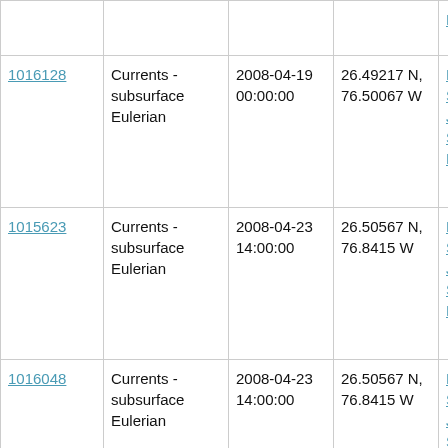|  |  |  |  | Leg 1 |
| 1016128 | Currents - subsurface Eulerian | 2008-04-19 00:00:00 | 26.49217 N, 76.50067 W | RV Seward Johnson SJ-08-03 Leg 1 |
| 1015623 | Currents - subsurface Eulerian | 2008-04-23 14:00:00 | 26.50567 N, 76.8415 W | RV Seward Johnson SJ-08-03 Leg 2 |
| 1016048 | Currents - subsurface Eulerian | 2008-04-23 14:00:00 | 26.50567 N, 76.8415 W | RV Seward Johnson SJ-08-03 Leg 2 |